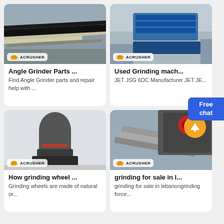[Figure (photo): Conveyor belt machinery in industrial setting with ACRUSHER logo badge]
Angle Grinder Parts ...
Find Angle Grinder parts and repair help with ...
[Figure (photo): Blue vibrating screen machinery in outdoor mining site with ACRUSHER logo badge]
Used Grinding mach...
JET JSG 6DC Manufacturer JET JE...
[Figure (photo): Grey vertical grinding mill machine with ACRUSHER logo badge]
How grinding wheel ...
Grinding wheels are made of natural or...
[Figure (photo): Industrial chute/conveyor structure with orange arrow overlay and ACRUSHER logo badge]
grinding for sale in l...
grinding for sale in lebanongrinding force...